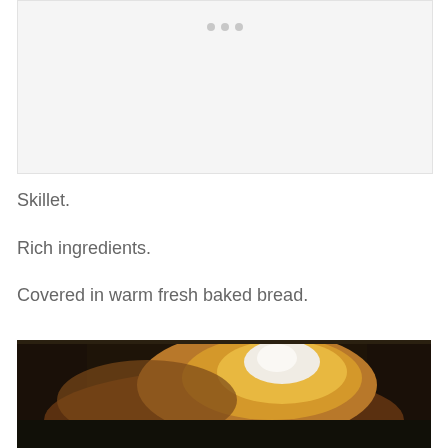[Figure (photo): Light gray placeholder image box with three small dots at the top center, representing a slideshow or image carousel placeholder.]
Skillet.
Rich ingredients.
Covered in warm fresh baked bread.
[Figure (photo): Close-up photo of a skillet with warm fresh baked bread inside, showing a golden-brown crusty bread loaf with white cream or butter on top, set in a dark cast iron skillet.]